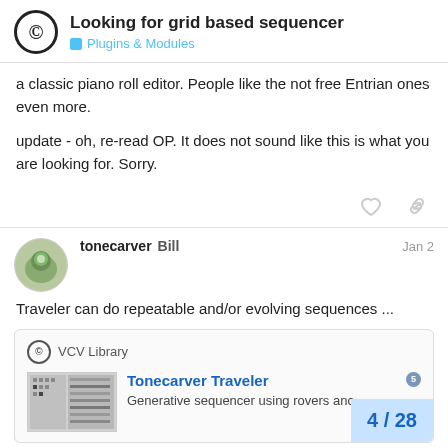Looking for grid based sequencer — Plugins & Modules
a classic piano roll editor. People like the not free Entrian ones even more.
update - oh, re-read OP. It does not sound like this is what you are looking for. Sorry.
tonecarver Bill  Jan 2
Traveler can do repeatable and/or evolving sequences ...
[Figure (screenshot): Embedded link card: VCV Library — Tonecarver Traveler — Generative sequencer using rovers and...]
4 / 28